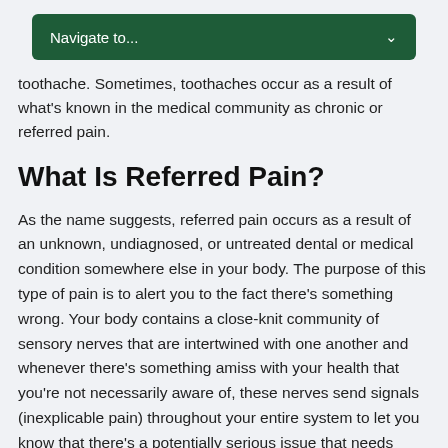Navigate to...
toothache. Sometimes, toothaches occur as a result of what's known in the medical community as chronic or referred pain.
What Is Referred Pain?
As the name suggests, referred pain occurs as a result of an unknown, undiagnosed, or untreated dental or medical condition somewhere else in your body. The purpose of this type of pain is to alert you to the fact there's something wrong. Your body contains a close-knit community of sensory nerves that are intertwined with one another and whenever there's something amiss with your health that you're not necessarily aware of, these nerves send signals (inexplicable pain) throughout your entire system to let you know that there's a potentially serious issue that needs immediate attention. In other words, you can think of referred pain as a code red alert signal issued by your nervous system. Since there are a lot of nerve endings located in your mouth,